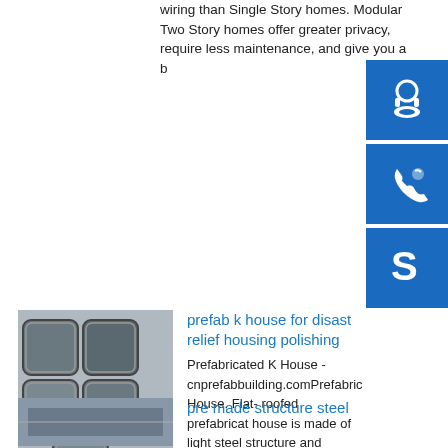wiring than Single Story homes. Modular Two Story homes offer greater privacy, require less maintenance, and give you a b
[Figure (infographic): Blue square button with customer support headset icon]
[Figure (infographic): Blue square button with phone/call icon]
[Figure (infographic): Blue square button with Skype icon]
[Figure (photo): Photo of bundled square steel tube sections stacked together]
prefab k house for disast relief housing polishing
Prefabricated K House - cnprefabbuilding.comPrefabric House. Flat- roofed prefabricat house is made of light steel structure and sandwich panels for wall and roof. The connection between components used bolts. Prefabricated house is widely used as cons
[Figure (photo): Photo of a steel structure building]
pre made structure steel